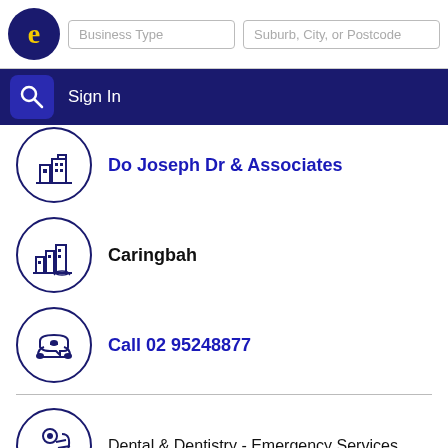Business Type | Suburb, City, or Postcode | Sign In
Do Joseph Dr & Associates
Caringbah
Call 02 95248877
Dental & Dentistry - Emergency Services
Anz Bldg 7a- 304 The Kingsway, Caringbah - NSW 2229
More results nearby or related categories